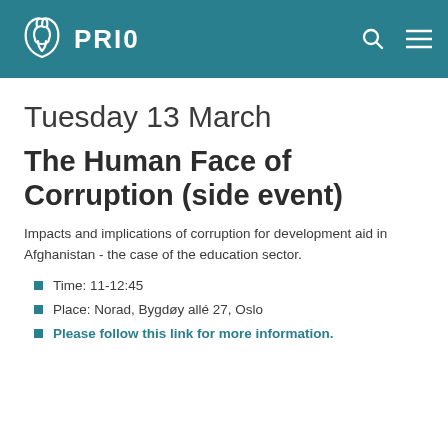PRIO
Tuesday 13 March
The Human Face of Corruption (side event)
Impacts and implications of corruption for development aid in Afghanistan - the case of the education sector.
Time: 11-12:45
Place: Norad, Bygdøy allé 27, Oslo
Please follow this link for more information.